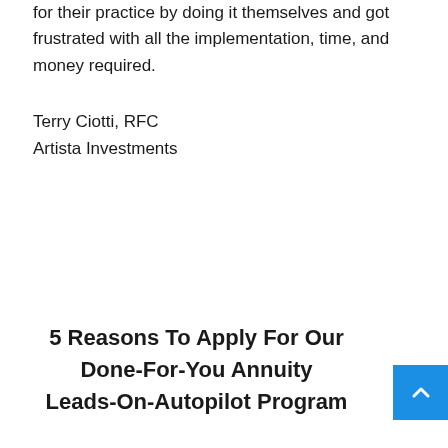for their practice by doing it themselves and got frustrated with all the implementation, time, and money required.
Terry Ciotti, RFC
Artista Investments
5 Reasons To Apply For Our Done-For-You Annuity Leads-On-Autopilot Program